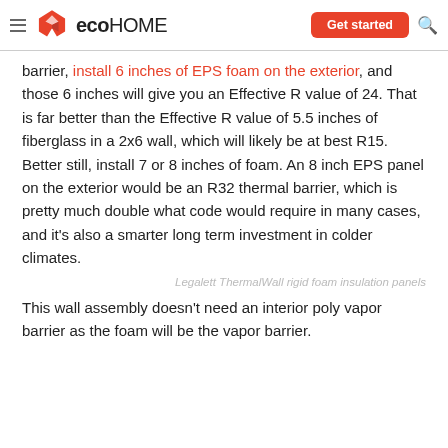eco HOME — Get started
barrier, install 6 inches of EPS foam on the exterior, and those 6 inches will give you an Effective R value of 24. That is far better than the Effective R value of 5.5 inches of fiberglass in a 2x6 wall, which will likely be at best R15. Better still, install 7 or 8 inches of foam. An 8 inch EPS panel on the exterior would be an R32 thermal barrier, which is pretty much double what code would require in many cases, and it's also a smarter long term investment in colder climates.
Legalett ThermalWall rigid foam insulation panels
This wall assembly doesn't need an interior poly vapor barrier as the foam will be the vapor barrier.